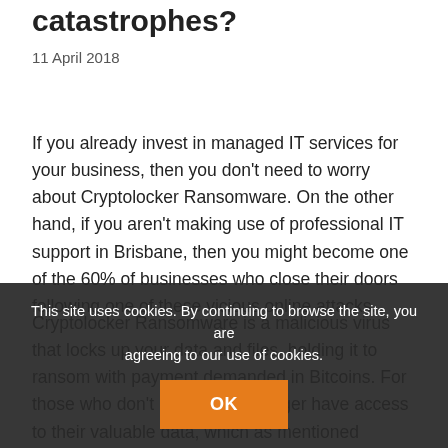catastrophes?
11 April 2018
If you already invest in managed IT services for your business, then you don't need to worry about Cryptolocker Ransomware. On the other hand, if you aren't making use of professional IT support in Brisbane, then you might become one of the 60% of businesses who close their doors following one of these vicious online attacks.
Cryptolocker Ransomware is a malicious virus that locks up your data and files, holding it to ransom with payment demanded in Bitcoins. For those who don't pay, they no longer have access to their valuable data, which as mentioned above, forces the majority to the wall.
Protecting your business against this type of online
This site uses cookies. By continuing to browse the site, you are agreeing to our use of cookies.